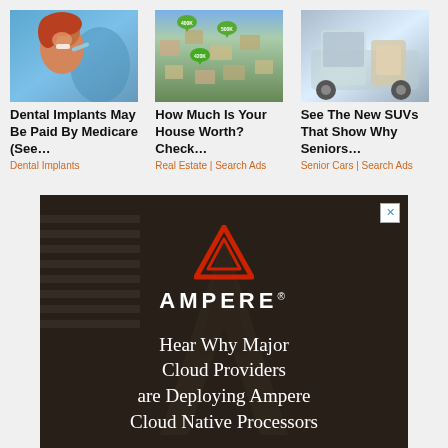[Figure (photo): Woman smiling in dental chair, red hair, blue dental equipment]
Dental Implants May Be Paid By Medicare (See…
Dental Implants
[Figure (photo): Aerial view of suburban houses with green map pin markers showing prices]
How Much Is Your House Worth? Check…
Real Estate | Search Ads
[Figure (photo): Luxury SUV interior with open door showing tan/beige seats]
See The New SUVs That Show Why Seniors…
Senior Cars | Search Ads
[Figure (illustration): Ampere advertisement with red triangle logo and text: Hear Why Major Cloud Providers are Deploying Ampere Cloud Native Processors]